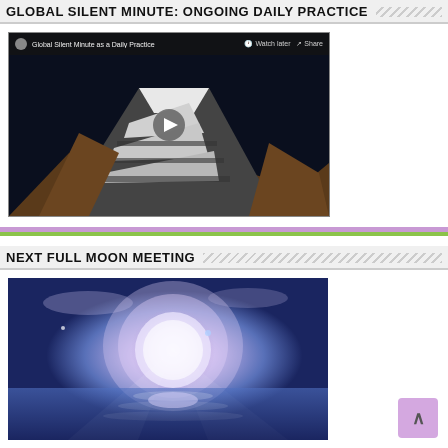GLOBAL SILENT MINUTE: ONGOING DAILY PRACTICE
[Figure (screenshot): YouTube video thumbnail showing a snow-capped mountain (Mount Kailash) against a dark blue sky, with a play button in the center. Video title reads 'Global Silent Minute as a Daily Practice' with Watch later and Share icons in the top bar.]
NEXT FULL MOON MEETING
[Figure (photo): Artistic image of a glowing full moon rising over a calm reflective water surface, with a blue and purple sky and light beams radiating from behind the moon.]